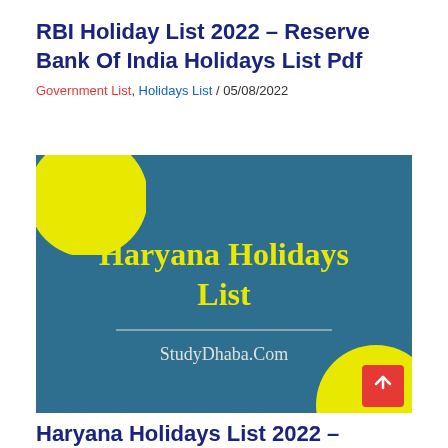RBI Holiday List 2022 – Reserve Bank Of India Holidays List Pdf
Government List, Holidays List / 05/08/2022
[Figure (illustration): Haryana Holidays List banner image with teal background, yellow circle decorations at top-left and bottom-right corners, text 'Haryana Holidays List' in yellow, a horizontal line, and 'StudyDhaba.Com' below it.]
Haryana Holidays List 2022 – Haryana Public ( Gazheri) Holidays List